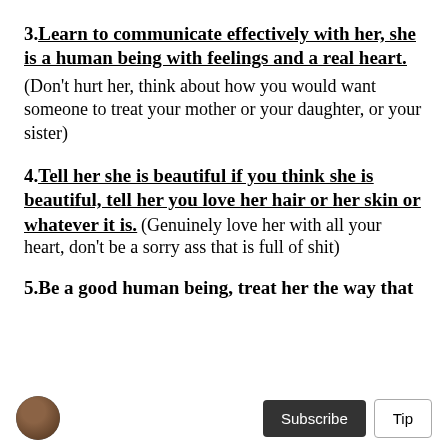3. Learn to communicate effectively with her, she is a human being with feelings and a real heart. (Don't hurt her, think about how you would want someone to treat your mother or your daughter, or your sister)
4. Tell her she is beautiful if you think she is beautiful, tell her you love her hair or her skin or whatever it is. (Genuinely love her with all your heart, don't be a sorry ass that is full of shit)
5. Be a good human being, treat her the way that